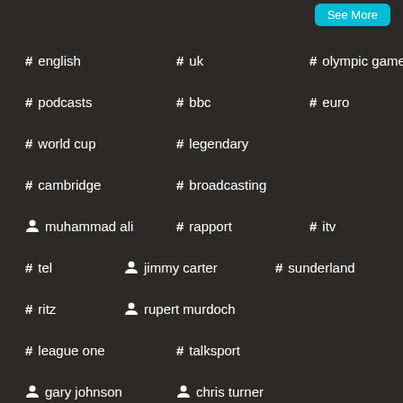# english  # uk  # olympic games
# podcasts  # bbc  # euro
# world cup  # legendary
# cambridge  # broadcasting
person muhammad ali  # rapport  # itv
# tel  person jimmy carter  # sunderland
# ritz  person rupert murdoch
# league one  # talksport
person gary johnson  person chris turner